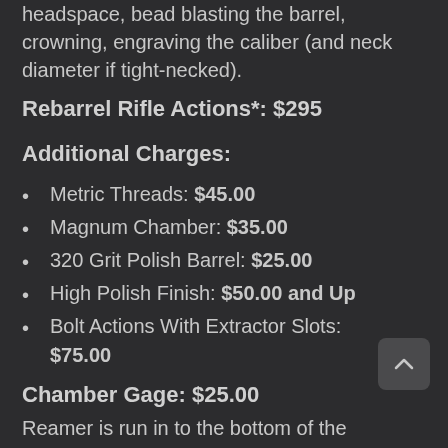headspace, bead blasting the barrel, crowning, engraving the caliber (and neck diameter if tight-necked).
Rebarrel Rifle Actions*: $295
Additional Charges:
Metric Threads: $45.00
Magnum Chamber: $35.00
320 Grit Polish Barrel: $25.00
High Polish Finish: $50.00 and Up
Bolt Actions With Extractor Slots: $75.00
Chamber Gage: $25.00
Reamer is run in to the bottom of the